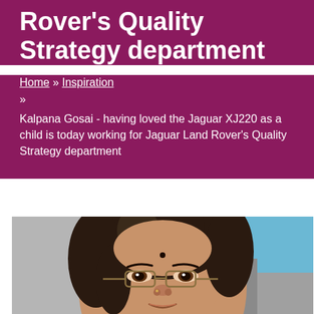Rover's Quality Strategy department
Home » Inspiration
» 
Kalpana Gosai - having loved the Jaguar XJ220 as a child is today working for Jaguar Land Rover's Quality Strategy department
[Figure (photo): Portrait photo of Kalpana Gosai, a woman wearing glasses, with dark hair loosely tied, against a blue and grey background.]